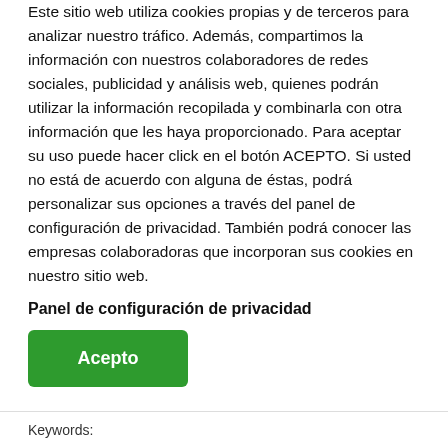Este sitio web utiliza cookies propias y de terceros para analizar nuestro tráfico. Además, compartimos la información con nuestros colaboradores de redes sociales, publicidad y análisis web, quienes podrán utilizar la información recopilada y combinarla con otra información que les haya proporcionado. Para aceptar su uso puede hacer click en el botón ACEPTO. Si usted no está de acuerdo con alguna de éstas, podrá personalizar sus opciones a través del panel de configuración de privacidad. También podrá conocer las empresas colaboradoras que incorporan sus cookies en nuestro sitio web.
Panel de configuración de privacidad
Acepto
Keywords: